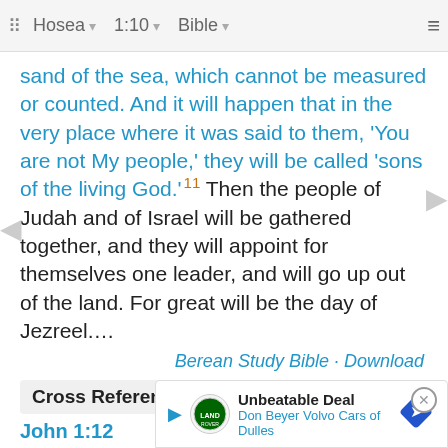Hosea | 1:10 | Bible
sand of the sea, which cannot be measured or counted. And it will happen that in the very place where it was said to them, 'You are not My people,' they will be called 'sons of the living God.' 11 Then the people of Judah and of Israel will be gathered together, and they will appoint for themselves one leader, and will go up out of the land. For great will be the day of Jezreel....
Berean Study Bible · Download
Cross References
John 1:12
But to all who did receive Him, to those who believed in His name, He gave the right to become children of God--
Romans
For a...
[Figure (other): Advertisement overlay: Land Rover logo, 'Unbeatable Deal', 'Don Beyer Volvo Cars of Dulles', navigation arrow icon, close button]